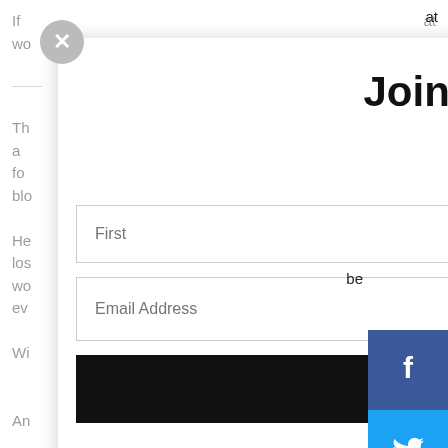Join Our List
Sign up to receive marketing and promotional email
First
Last
Email Address
Subscribe
No Thanks!
[Figure (screenshot): Email signup modal popup with First, Last, Email Address fields, Subscribe button, No Thanks link, close button, and social media icons (Facebook, Twitter, Google+, Pinterest, Blogger, More) on the right edge.]